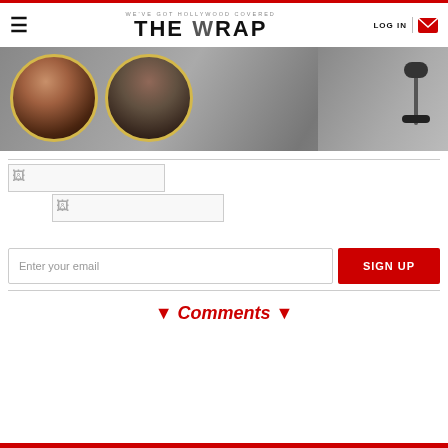THE WRAP — WE'VE GOT HOLLYWOOD COVERED — LOG IN
[Figure (photo): Hero banner with two circular portrait photos of a woman and a man with gold ring borders, on a dark studio background with a microphone visible on the right.]
[Figure (other): Broken image placeholder 1]
[Figure (other): Broken image placeholder 2]
Enter your email
SIGN UP
▼ Comments ▼